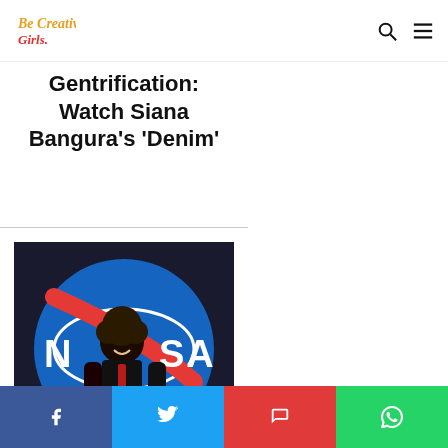Be Creative Girls (logo), search icon, menu icon
Gentrification: Watch Siana Bangura's 'Denim'
[Figure (photo): Photo of a woman smiling in front of a NASA logo mural]
Alicia Robinson's Art Is Pure Magic